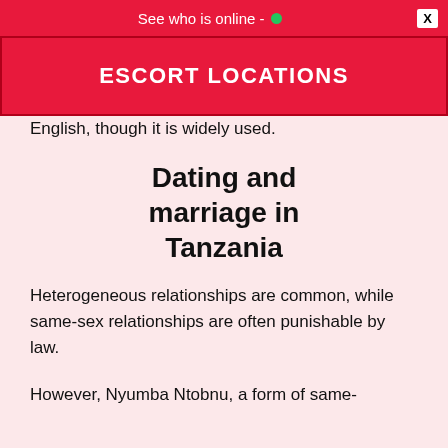See who is online - •   X
ESCORT LOCATIONS
English, though it is widely used.
Dating and marriage in Tanzania
Heterogeneous relationships are common, while same-sex relationships are often punishable by law.
However, Nyumba Ntobnu, a form of same-